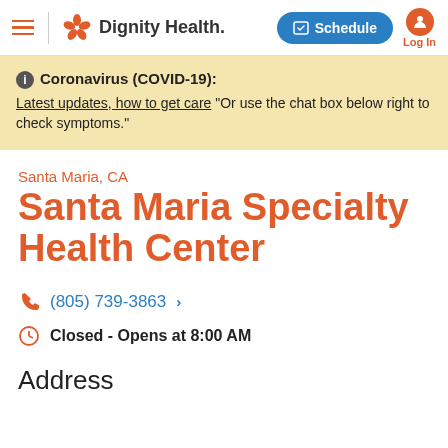Dignity Health – Navigation bar with Schedule button and Log In
Coronavirus (COVID-19): Latest updates, how to get care "Or use the chat box below right to check symptoms."
Santa Maria, CA
Santa Maria Specialty Health Center
(805) 739-3863
Closed - Opens at 8:00 AM
Address